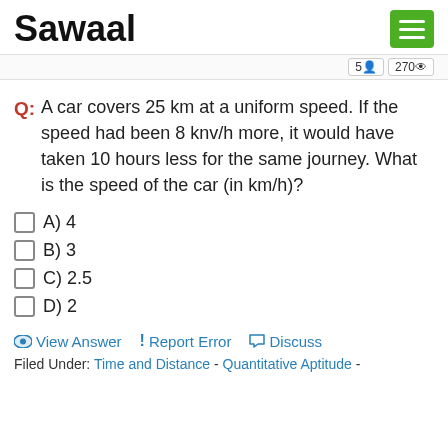Sawaal
5  270
Q: A car covers 25 km at a uniform speed. If the speed had been 8 knv/h more, it would have taken 10 hours less for the same journey. What is the speed of the car (in km/h)?
A) 4
B) 3
C) 2.5
D) 2
👁 View Answer  ! Report Error  💬 Discuss
Filed Under: Time and Distance - Quantitative Aptitude -